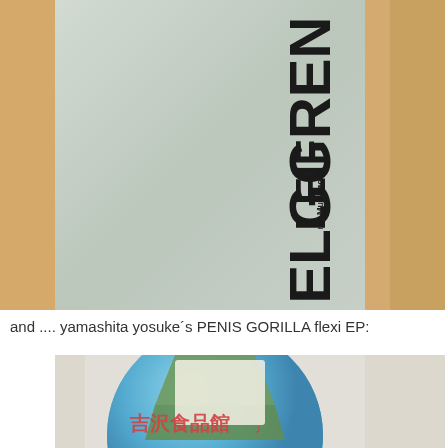[Figure (photo): Photo of a record/album sleeve spine showing the text ELGGREN and LEIF vertically, with 'Kapotte Muziek' also visible. The sleeve appears light grey/blue. It rests on a wooden surface.]
and .... yamashita yosuke´s PENIS GORILLA flexi EP:
[Figure (photo): Photo of a flexi disc EP in a plastic sleeve. The disc has a blue background with a colourful illustrated label showing a green triangle and Japanese text in red. This is yamashita yosuke's PENIS GORILLA flexi EP.]